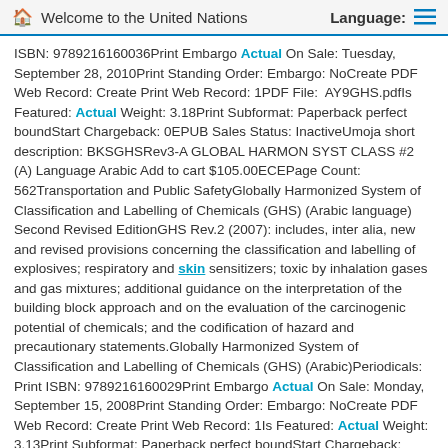Welcome to the United Nations | Language:
ISBN: 9789216160036Print Embargo Actual On Sale: Tuesday, September 28, 2010Print Standing Order: Embargo: NoCreate PDF Web Record: Create Print Web Record: 1PDF File: AY9GHS.pdfIs Featured: Actual Weight: 3.18Print Subformat: Paperback perfect boundStart Chargeback: 0EPUB Sales Status: InactiveUmoja short description: BKSGHSRev3-A GLOBAL HARMON SYST CLASS #2 (A) Language Arabic Add to cart $105.00ECEPage Count: 562Transportation and Public SafetyGlobally Harmonized System of Classification and Labelling of Chemicals (GHS) (Arabic language) Second Revised EditionGHS Rev.2 (2007): includes, inter alia, new and revised provisions concerning the classification and labelling of explosives; respiratory and skin sensitizers; toxic by inhalation gases and gas mixtures; additional guidance on the interpretation of the building block approach and on the evaluation of the carcinogenic potential of chemicals; and the codification of hazard and precautionary statements.Globally Harmonized System of Classification and Labelling of Chemicals (GHS) (Arabic)Periodicals: Print ISBN: 9789216160029Print Embargo Actual On Sale: Monday, September 15, 2008Print Standing Order: Embargo: NoCreate PDF Web Record: Create Print Web Record: 1Is Featured: Actual Weight: 3.13Print Subformat: Paperback perfect boundStart Chargeback: 0EPUB Sales Status: Inactive GLOBAL HARMON SYST CLASS #1 (A) Language Arabic Add to cart $95.00ECEPage Count: 552Transportation and Public SafetyGlobally Harmonized System of Classification and Labelling of